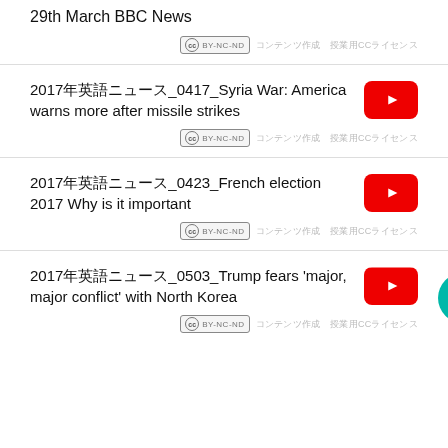29th March BBC News
CC BY-NC-ND (Japanese CC license text)
2017年英語ニュース_0417_Syria War: America warns more after missile strikes
CC BY-NC-ND (Japanese CC license text)
2017年英語ニュース_0423_French election 2017 Why is it important
CC BY-NC-ND (Japanese CC license text)
2017年英語ニュース_0503_Trump fears 'major, major conflict' with North Korea